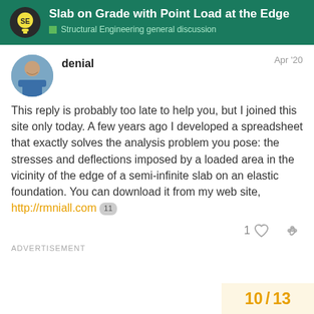Slab on Grade with Point Load at the Edge — Structural Engineering general discussion
denial — Apr '20
This reply is probably too late to help you, but I joined this site only today. A few years ago I developed a spreadsheet that exactly solves the analysis problem you pose: the stresses and deflections imposed by a loaded area in the vicinity of the edge of a semi-infinite slab on an elastic foundation. You can download it from my web site, http://rmniall.com 11
ADVERTISEMENT
10 / 13